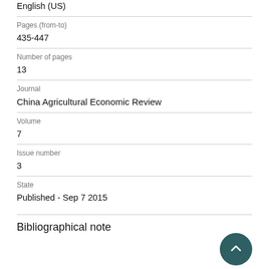English (US)
Pages (from-to)
435-447
Number of pages
13
Journal
China Agricultural Economic Review
Volume
7
Issue number
3
State
Published - Sep 7 2015
Bibliographical note